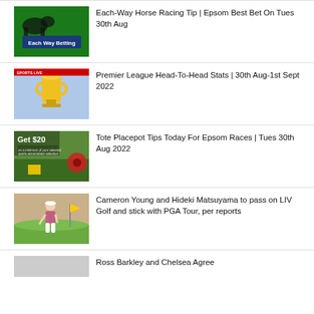Each-Way Horse Racing Tip | Epsom Best Bet On Tues 30th Aug
Premier League Head-To-Head Stats | 30th Aug-1st Sept 2022
Tote Placepot Tips Today For Epsom Races | Tues 30th Aug 2022
Cameron Young and Hideki Matsuyama to pass on LIV Golf and stick with PGA Tour, per reports
Ross Barkley and Chelsea Agree